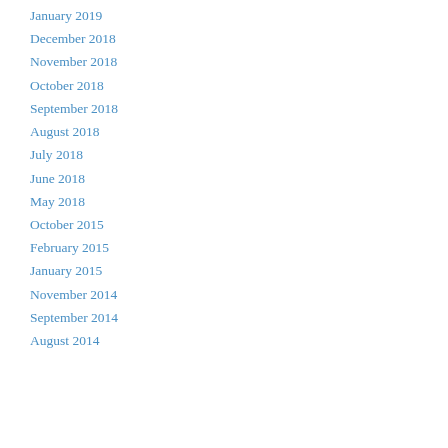January 2019
December 2018
November 2018
October 2018
September 2018
August 2018
July 2018
June 2018
May 2018
October 2015
February 2015
January 2015
November 2014
September 2014
August 2014